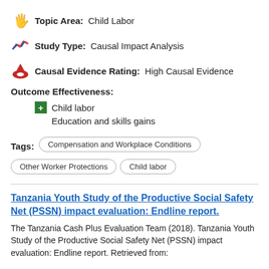Topic Area: Child Labor
Study Type: Causal Impact Analysis
Causal Evidence Rating: High Causal Evidence
Outcome Effectiveness:
Child labor
Education and skills gains
Tags: Compensation and Workplace Conditions | Other Worker Protections | Child labor
Tanzania Youth Study of the Productive Social Safety Net (PSSN) impact evaluation: Endline report.
The Tanzania Cash Plus Evaluation Team (2018). Tanzania Youth Study of the Productive Social Safety Net (PSSN) impact evaluation: Endline report. Retrieved from: